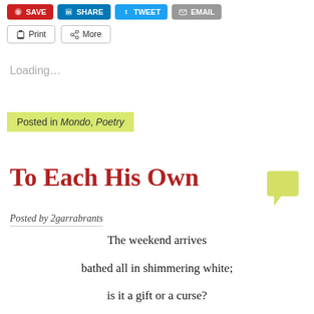[Figure (screenshot): Social sharing buttons row: Save (red), LinkedIn (blue), Twitter (blue), Email (gray); second row: Print and More outline buttons]
Loading...
Posted in Mondo, Poetry
To Each His Own
Posted by 2garrabrants
The weekend arrives

bathed all in shimmering white;

is it a gift or a curse?

~

One person's blessing